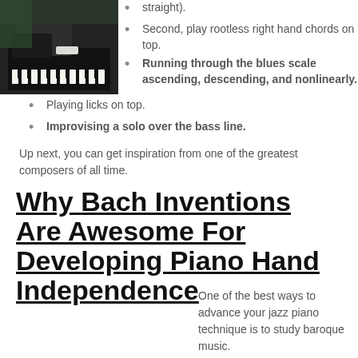[Figure (photo): Person playing piano, dark image with hands on keys visible]
straight).
Second, play rootless right hand chords on top.
Running through the blues scale ascending, descending, and nonlinearly.
Playing licks on top.
Improvising a solo over the bass line.
Up next, you can get inspiration from one of the greatest composers of all time.
Why Bach Inventions Are Awesome For Developing Piano Hand Independence
One of the best ways to advance your jazz piano technique is to study baroque music.